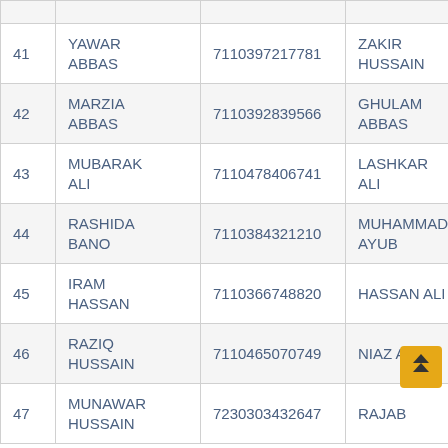| # | Name | ID | Guardian | Guardian ID |
| --- | --- | --- | --- | --- |
| 41 | YAWAR ABBAS | 7110397217781 | ZAKIR HUSSAIN | 711037... |
| 42 | MARZIA ABBAS | 7110392839566 | GHULAM ABBAS | 711030... |
| 43 | MUBARAK ALI | 7110478406741 | LASHKAR ALI | 711041... |
| 44 | RASHIDA BANO | 7110384321210 | MUHAMMAD AYUB | 711039... |
| 45 | IRAM HASSAN | 7110366748820 | HASSAN ALI | 711035... |
| 46 | RAZIQ HUSSAIN | 7110465070749 | NIAZ ALI | 711044... |
| 47 | MUNAWAR HUSSAIN | 7230303432647 | RAJAB | 711030... |